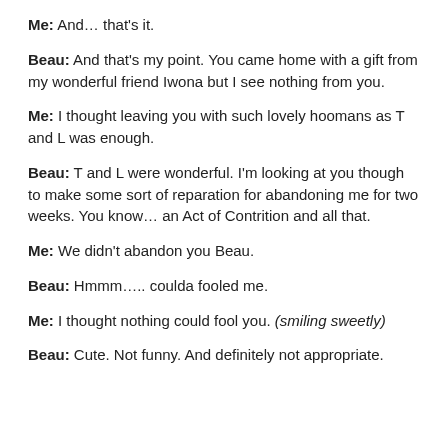Me: And… that's it.
Beau: And that's my point. You came home with a gift from my wonderful friend Iwona but I see nothing from you.
Me: I thought leaving you with such lovely hoomans as T and L was enough.
Beau: T and L were wonderful. I'm looking at you though to make some sort of reparation for abandoning me for two weeks. You know… an Act of Contrition and all that.
Me: We didn't abandon you Beau.
Beau: Hmmm….. coulda fooled me.
Me: I thought nothing could fool you. (smiling sweetly)
Beau: Cute. Not funny. And definitely not appropriate.